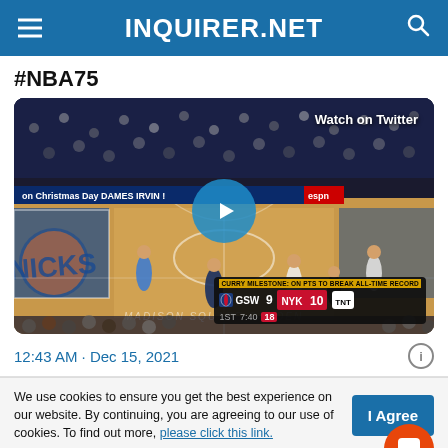INQUIRER.NET
#NBA75
[Figure (screenshot): Embedded tweet video from Twitter showing an NBA basketball game at Madison Square Garden between Golden State Warriors (GSW) and New York Knicks (NYK). Score: GSW 9, NYK 10, 1st quarter, 7:40, 18 seconds. Play button overlay. 'Watch on Twitter' label in top right.]
12:43 AM · Dec 15, 2021
We use cookies to ensure you get the best experience on our website. By continuing, you are agreeing to our use of cookies. To find out more, please click this link.
I Agree